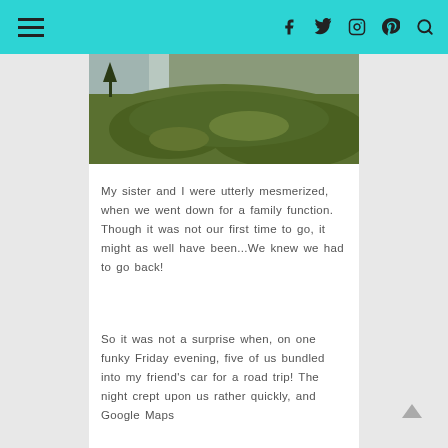Navigation bar with hamburger menu and social icons (Facebook, Twitter, Instagram, Pinterest, Search)
[Figure (photo): Green grassy hillside with a lake or water body in the upper left corner, under an overcast sky. Landscape nature photo.]
My sister and I were utterly mesmerized, when we went down for a family function. Though it was not our first time to go, it might as well have been...We knew we had to go back!
So it was not a surprise when, on one funky Friday evening, five of us bundled into my friend’s car for a road trip! The night crept upon us rather quickly, and Google Maps